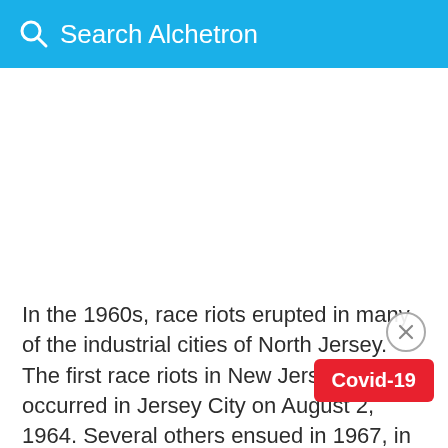Search Alchetron
In the 1960s, race riots erupted in many of the industrial cities of North Jersey. The first race riots in New Jersey occurred in Jersey City on August 2, 1964. Several others ensued in 1967, in Newark and Plainfield. Other riots followed the assassination of Dr. Martin Luther King, Jr. in April
Covid-19